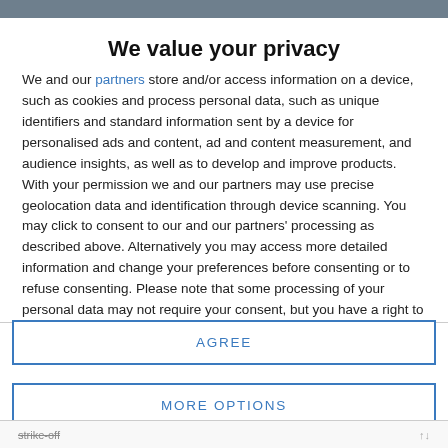We value your privacy
We and our partners store and/or access information on a device, such as cookies and process personal data, such as unique identifiers and standard information sent by a device for personalised ads and content, ad and content measurement, and audience insights, as well as to develop and improve products. With your permission we and our partners may use precise geolocation data and identification through device scanning. You may click to consent to our and our partners' processing as described above. Alternatively you may access more detailed information and change your preferences before consenting or to refuse consenting. Please note that some processing of your personal data may not require your consent, but you have a right to
AGREE
MORE OPTIONS
strike-off